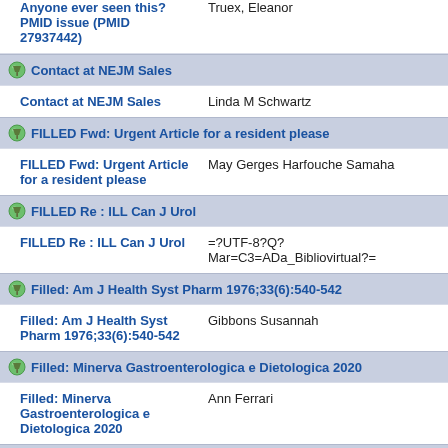Anyone ever seen this? PMID issue (PMID 27937442) | Truex, Eleanor
Contact at NEJM Sales (header)
Contact at NEJM Sales | Linda M Schwartz
FILLED Fwd: Urgent Article for a resident please (header)
FILLED Fwd: Urgent Article for a resident please | May Gerges Harfouche Samaha
FILLED Re : ILL Can J Urol (header)
FILLED Re : ILL Can J Urol | =?UTF-8?Q?Mar=C3=ADa_Bibliovirtual?=
Filled: Am J Health Syst Pharm 1976;33(6):540-542 (header)
Filled: Am J Health Syst Pharm 1976;33(6):540-542 | Gibbons Susannah
Filled: Minerva Gastroenterologica e Dietologica 2020 (header)
Filled: Minerva Gastroenterologica e Dietologica 2020 | Ann Ferrari
FILLED: Surg Technol Int. 2021;39:395-402 (header, partial)